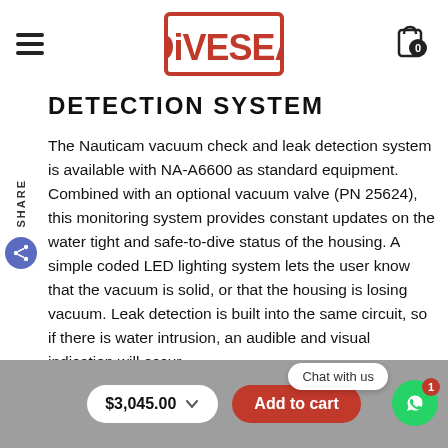DIVESEA
DETECTION SYSTEM
The Nauticam vacuum check and leak detection system is available with NA-A6600 as standard equipment. Combined with an optional vacuum valve (PN 25624), this monitoring system provides constant updates on the water tight and safe-to-dive status of the housing. A simple coded LED lighting system lets the user know that the vacuum is solid, or that the housing is losing vacuum. Leak detection is built into the same circuit, so if there is water intrusion, an audible and visual indication will occur.
RESOURCES
$3,045.00  Add to cart  Chat with us